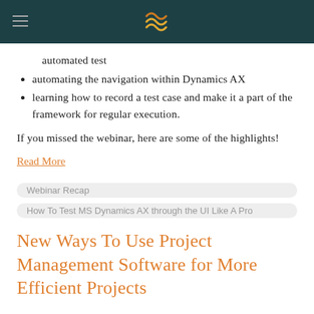automated test
automating the navigation within Dynamics AX
learning how to record a test case and make it a part of the framework for regular execution.
If you missed the webinar, here are some of the highlights!
Read More
Webinar Recap
How To Test MS Dynamics AX through the UI Like A Pro
New Ways To Use Project Management Software for More Efficient Projects